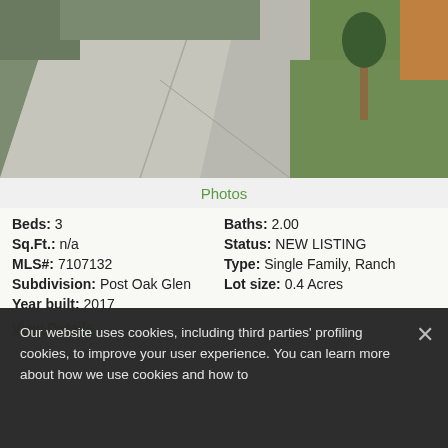[Figure (photo): Exterior photo of a residential property showing a concrete driveway and green lawn with trees and landscaping.]
Photos
Beds: 3   Baths: 2.00
Sq.Ft.: n/a   Status: NEW LISTING
MLS#: 7107132   Type: Single Family, Ranch
Subdivision: Post Oak Glen   Lot size: 0.4 Acres
Year built: 2017
View Details
Our website uses cookies, including third parties' profiling cookies, to improve your user experience. You can learn more about how we use cookies and how to